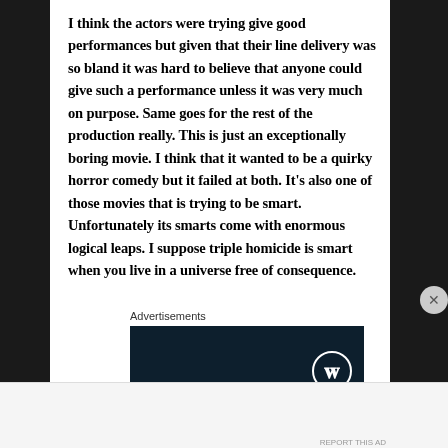I think the actors were trying give good performances but given that their line delivery was so bland it was hard to believe that anyone could give such a performance unless it was very much on purpose. Same goes for the rest of the production really. This is just an exceptionally boring movie. I think that it wanted to be a quirky horror comedy but it failed at both. It's also one of those movies that is trying to be smart. Unfortunately its smarts come with enormous logical leaps. I suppose triple homicide is smart when you live in a universe free of consequence.
Advertisements
[Figure (logo): WordPress logo (W in circle) on dark navy background advertisement banner]
Advertisements
P2 — Getting your team on the same page is easy. And free.